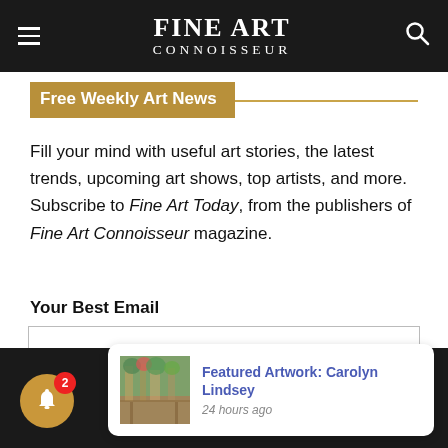FINE ART CONNOISSEUR
Free Weekly Art News
Fill your mind with useful art stories, the latest trends, upcoming art shows, top artists, and more. Subscribe to Fine Art Today, from the publishers of Fine Art Connoisseur magazine.
Your Best Email
[Figure (screenshot): Email input field]
[Figure (infographic): Notification popup showing Featured Artwork: Carolyn Lindsey, 24 hours ago, with a thumbnail of a painted street scene and a bell icon with badge count 2]